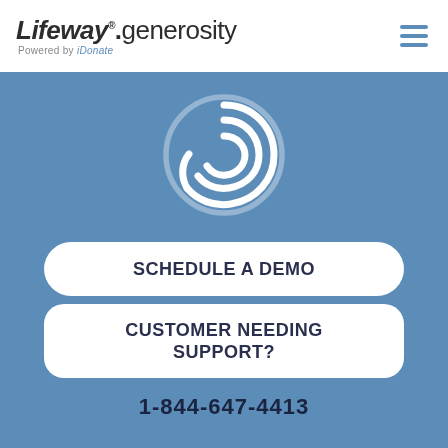[Figure (logo): Lifeway Generosity logo with 'Powered by iDonate' subtext and hamburger menu icon]
[Figure (illustration): White wave/spiral icon on blue background — Lifeway Generosity brand mark]
SCHEDULE A DEMO
CUSTOMER NEEDING SUPPORT?
1-844-647-4413